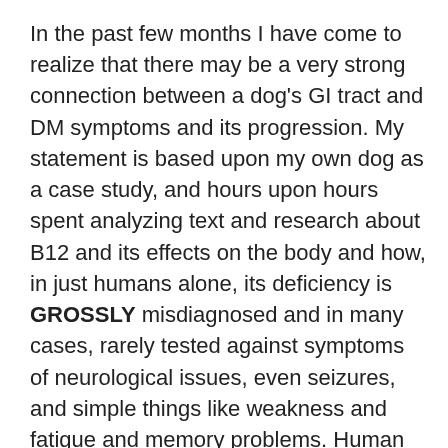In the past few months I have come to realize that there may be a very strong connection between a dog's GI tract and DM symptoms and its progression. My statement is based upon my own dog as a case study, and hours upon hours spent analyzing text and research about B12 and its effects on the body and how, in just humans alone, its deficiency is GROSSLY misdiagnosed and in many cases, rarely tested against symptoms of neurological issues, even seizures, and simple things like weakness and fatigue and memory problems. Human medicine neurologists have even been found negligent for not diagnosing B12 deficiency in patients, causing irreparable harm. So if humans aren't properly diagnosed with a deficiency – how often can it happen in dogs? I wanted to understand why Doctors and Veterinarians would not recognize B12 deficiency, and that answer is how this